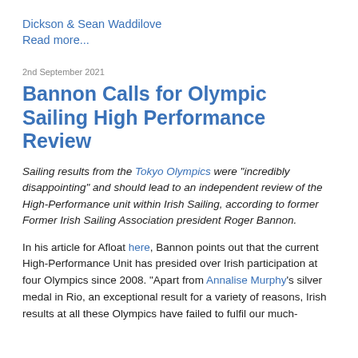Dickson & Sean Waddilove
Read more...
2nd September 2021
Bannon Calls for Olympic Sailing High Performance Review
Sailing results from the Tokyo Olympics were "incredibly disappointing" and should lead to an independent review of the High-Performance unit within Irish Sailing, according to former Former Irish Sailing Association president Roger Bannon.
In his article for Afloat here, Bannon points out that the current High-Performance Unit has presided over Irish participation at four Olympics since 2008. "Apart from Annalise Murphy's silver medal in Rio, an exceptional result for a variety of reasons, Irish results at all these Olympics have failed to fulfil our much-